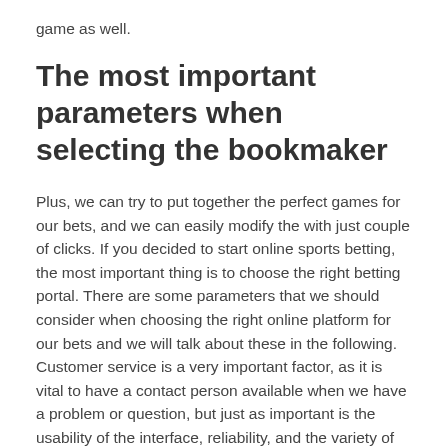game as well.
The most important parameters when selecting the bookmaker
Plus, we can try to put together the perfect games for our bets, and we can easily modify the with just couple of clicks. If you decided to start online sports betting, the most important thing is to choose the right betting portal. There are some parameters that we should consider when choosing the right online platform for our bets and we will talk about these in the following. Customer service is a very important factor, as it is vital to have a contact person available when we have a problem or question, but just as important is the usability of the interface, reliability, and the variety of